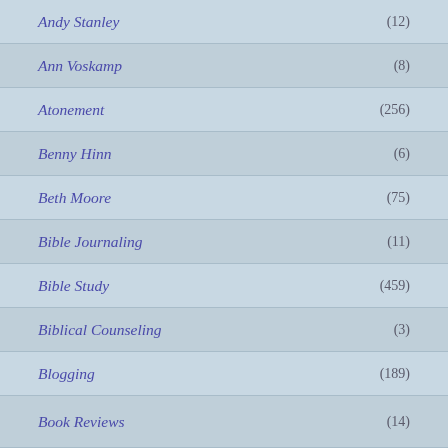Andy Stanley (12)
Ann Voskamp (8)
Atonement (256)
Benny Hinn (6)
Beth Moore (75)
Bible Journaling (11)
Bible Study (459)
Biblical Counseling (3)
Blogging (189)
Book Reviews (14)